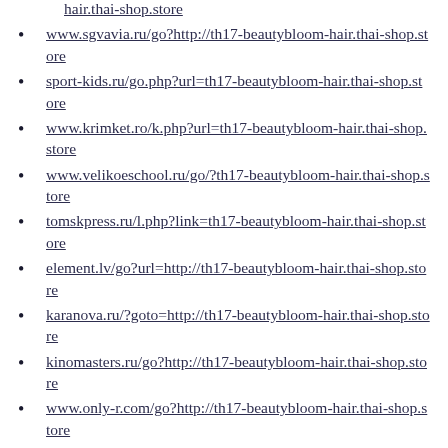www.sgvavia.ru/go?http://th17-beautybloom-hair.thai-shop.store
sport-kids.ru/go.php?url=th17-beautybloom-hair.thai-shop.store
www.krimket.ro/k.php?url=th17-beautybloom-hair.thai-shop.store
www.velikoeschool.ru/go/?th17-beautybloom-hair.thai-shop.store
tomskpress.ru/l.php?link=th17-beautybloom-hair.thai-shop.store
element.lv/go?url=http://th17-beautybloom-hair.thai-shop.store
karanova.ru/?goto=http://th17-beautybloom-hair.thai-shop.store
kinomasters.ru/go?http://th17-beautybloom-hair.thai-shop.store
www.only-r.com/go?http://th17-beautybloom-hair.thai-shop.store
799.ru/go.php?url=http://th17-beautybloom-...